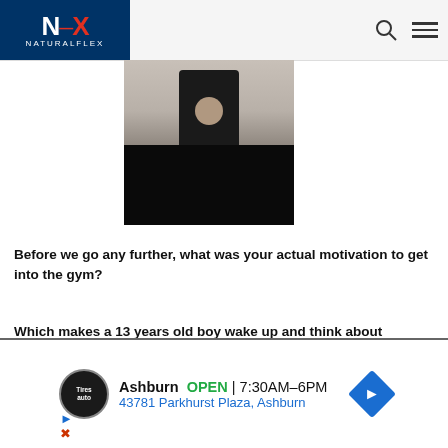NaturalFlex (NFX) logo header with search and menu icons
[Figure (photo): A person in a black outfit photographed in a mirror, lower half blacked out]
Before we go any further, what was your actual motivation to get into the gym?
Which makes a 13 years old boy wake up and think about starting lifting
[Figure (infographic): Tire Auto advertisement: Ashburn OPEN 7:30AM-6PM 43781 Parkhurst Plaza, Ashburn with navigation arrow icon]